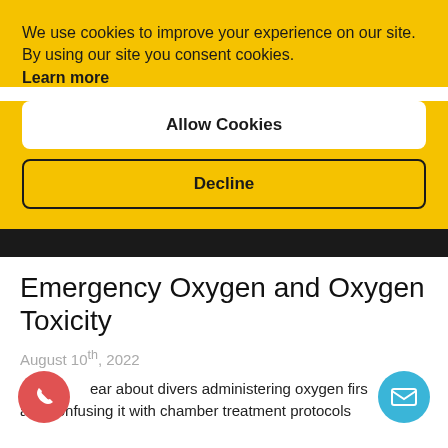We use cookies to improve your experience on our site. By using our site you consent cookies. Learn more
Allow Cookies
Decline
[Figure (photo): Dark background photo strip]
Emergency Oxygen and Oxygen Toxicity
August 10th, 2022
ear about divers administering oxygen firs and confusing it with chamber treatment protocols